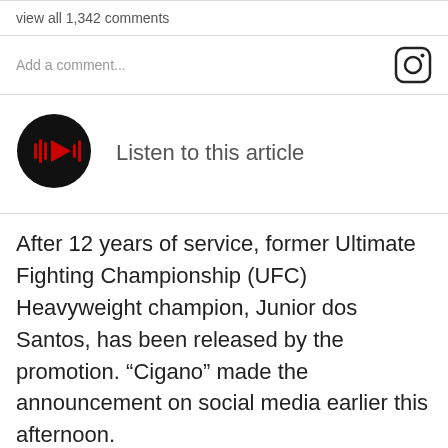view all 1,342 comments
Add a comment...
[Figure (other): Listen to this article audio player button with play icon]
Listen to this article
After 12 years of service, former Ultimate Fighting Championship (UFC) Heavyweight champion, Junior dos Santos, has been released by the promotion. “Cigano” made the announcement on social media earlier this afternoon.